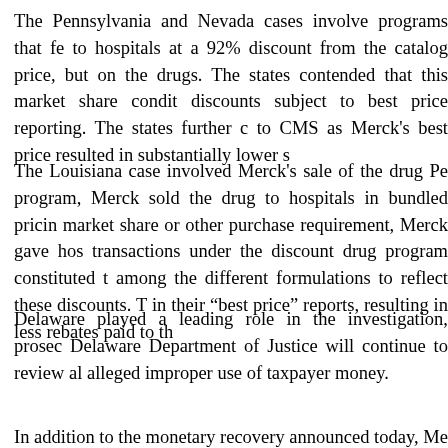The Pennsylvania and Nevada cases involve programs that fe to hospitals at a 92% discount from the catalog price, but on the drugs. The states contended that this market share condit discounts subject to best price reporting. The states further c to CMS as Merck's best price resulted in substantially lower s
The Louisiana case involved Merck's sale of the drug Pe program, Merck sold the drug to hospitals in bundled pricin market share or other purchase requirement, Merck gave hos transactions under the discount drug program constituted t among the different formulations to reflect these discounts. T in their "best price" reports, resulting in less rebates paid to th
Delaware played a leading role in the investigation, prosec Delaware Department of Justice will continue to review al alleged improper use of taxpayer money.
In addition to the monetary recovery announced today, Me